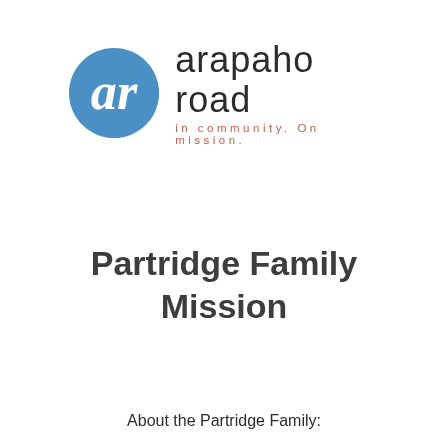[Figure (logo): Arapaho Road church logo: a blue circle with a white lowercase 'ar' lettermark, next to the text 'arapaho road' in large dark sans-serif and 'in community. On mission.' in smaller salmon/coral colored spaced letters.]
Partridge Family Mission
About the Partridge Family: